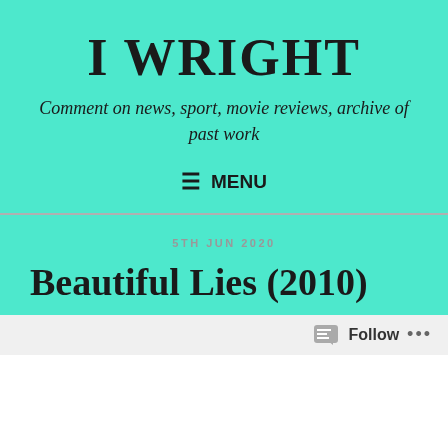I WRIGHT
Comment on news, sport, movie reviews, archive of past work
≡ MENU
5TH JUN 2020
Beautiful Lies (2010)
Follow ...